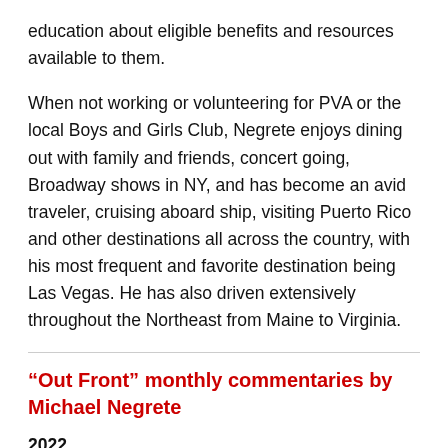education about eligible benefits and resources available to them.
When not working or volunteering for PVA or the local Boys and Girls Club, Negrete enjoys dining out with family and friends, concert going, Broadway shows in NY, and has become an avid traveler, cruising aboard ship, visiting Puerto Rico and other destinations all across the country, with his most frequent and favorite destination being Las Vegas. He has also driven extensively throughout the Northeast from Maine to Virginia.
“Out Front” monthly commentaries by Michael Negrete
2022
June